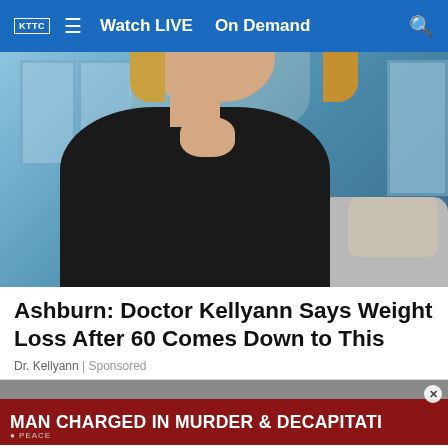KTTC  ≡  Watch LIVE  On Demand  🔍
[Figure (photo): A blonde woman in a black outfit sitting on a couch, resting her chin on her hand, smiling at the camera. Background shows blue decorative windows.]
Ashburn: Doctor Kellyann Says Weight Loss After 60 Comes Down to This
Dr. Kellyann | Sponsored
[Figure (screenshot): Breaking news lower-third graphic with dark red background reading: MAN CHARGED IN MURDER & DECAPITATI... with a close button and text partially visible below.]